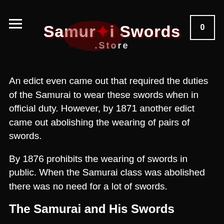Samurai Swords Store
An edict even came out that required the duties of the Samurai to wear these swords when in official duty. However, by 1871 another edict came out abolishing the wearing of pairs of swords.
By 1876 prohibits the wearing of swords in public. When the Samurai class was abolished there was no need for a lot of swords.
The Samurai and His Swords
Samurai named their swords as a form of devotion. These blades are said to be an extension of his soul. They dedicate their lives to the combat arts of Bujutsu.
The sword becomes a symbol of the history and heroic deeds